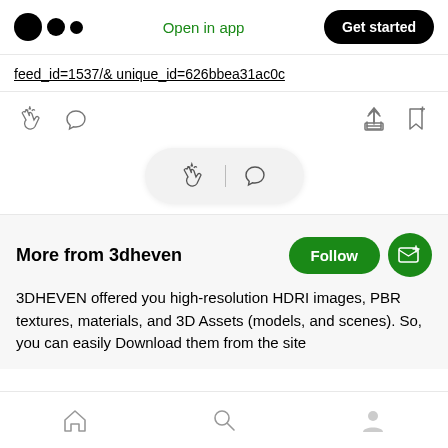Medium app header with logo, Open in app, Get started
feed_id=1537/& unique_id=626bbea31ac0c
[Figure (screenshot): Action icons row: clap, comment on left; share, bookmark on right]
[Figure (screenshot): Floating pill with clap and comment icons]
More from 3dheven
3DHEVEN offered you high-resolution HDRI images, PBR textures, materials, and 3D Assets (models, and scenes). So, you can easily Download them from the site
Bottom navigation: home, search, profile